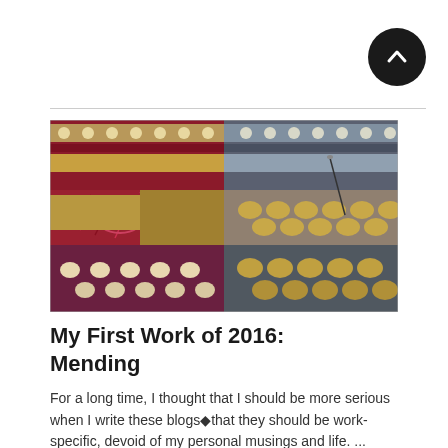[Figure (other): Dark circular scroll-to-top button with upward chevron arrow icon]
[Figure (photo): Close-up photograph of a rug or textile being mended, showing worn and frayed sections with a needle visible, colors include red, gold/yellow, grey, and cream with geometric and floral patterns]
My First Work of 2016: Mending
For a long time, I thought that I should be more serious when I write these blogs◆that they should be work-specific, devoid of my personal musings and life. ... Read More »